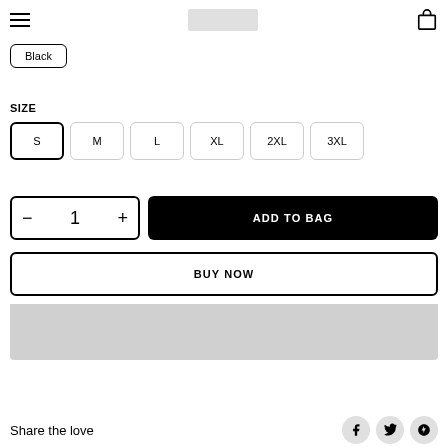Navigation header with hamburger menu, logo placeholder, and bag icon
Black
SIZE
S (selected), M, L, XL, 2XL, 3XL
− 1 + | ADD TO BAG
BUY NOW
Share the love